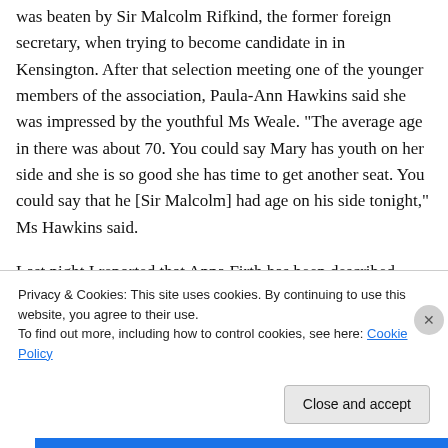was beaten by Sir Malcolm Rifkind, the former foreign secretary, when trying to become candidate in in Kensington. After that selection meeting one of the younger members of the association, Paula-Ann Hawkins said she was impressed by the youthful Ms Weale. “The average age in there was about 70. You could say Mary has youth on her side and she is so good she has time to get another seat. You could say that he [Sir Malcolm] had age on his side tonight,” Ms Hawkins said.
Last night I reported that Anna Firth has been described
Privacy & Cookies: This site uses cookies. By continuing to use this website, you agree to their use.
To find out more, including how to control cookies, see here: Cookie Policy